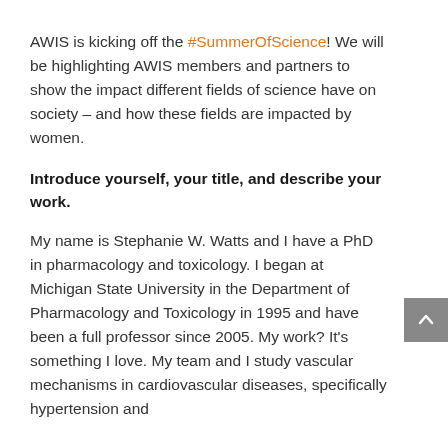AWIS is kicking off the #SummerOfScience! We will be highlighting AWIS members and partners to show the impact different fields of science have on society – and how these fields are impacted by women.
Introduce yourself, your title, and describe your work.
My name is Stephanie W. Watts and I have a PhD in pharmacology and toxicology. I began at Michigan State University in the Department of Pharmacology and Toxicology in 1995 and have been a full professor since 2005. My work? It's something I love. My team and I study vascular mechanisms in cardiovascular diseases, specifically hypertension and